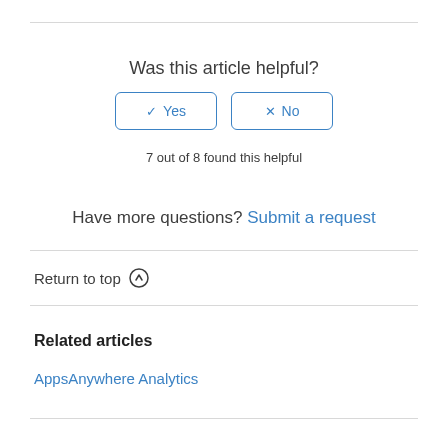Was this article helpful?
[Figure (other): Yes and No feedback buttons with checkmark and X icons, styled with blue borders]
7 out of 8 found this helpful
Have more questions? Submit a request
Return to top ↑
Related articles
AppsAnywhere Analytics